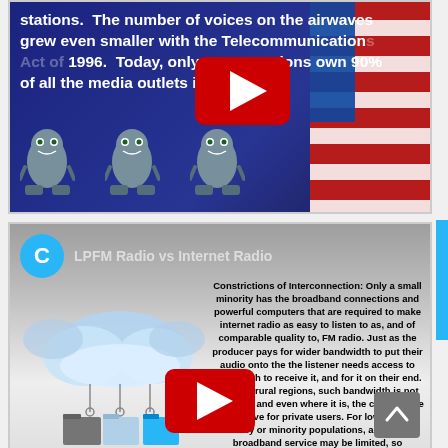[Figure (screenshot): YouTube video thumbnail with dark blue background showing bold white text about media consolidation, monster cartoon characters, and US flag imagery. YouTube play button overlay visible.]
stations.  The number of voices on the airwaves grew even smaller with the Telecommunications Act of 1996.  Today, only 6 corporations own 90% of all the media outlets in the U.S.
[Figure (screenshot): YouTube video thumbnail with gray gradient background showing a cloud/internet illustration on the left, channel icon with letter C and title 'LPFM Radio vs Internet Radio', and a YouTube play button overlay.]
Constrictions of Interconnection:  Only a small minority has the broadband connections and powerful computers that are required to make internet radio as easy to listen to as, and of comparable quality to, FM radio. Just as the producer pays for wider bandwidth to put their audio onto the the listener needs access to bandwidth to receive it, and for it on their end. In many rural regions, such bandwidth is not available, and even where it is, the cost may be prohibitive for private users. For low-income, elderly or minority populations, access to broadband service may be limited, so